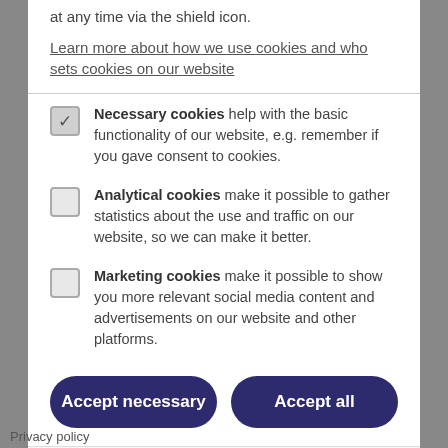at any time via the shield icon.
Learn more about how we use cookies and who sets cookies on our website
Necessary cookies help with the basic functionality of our website, e.g. remember if you gave consent to cookies.
Analytical cookies make it possible to gather statistics about the use and traffic on our website, so we can make it better.
Marketing cookies make it possible to show you more relevant social media content and advertisements on our website and other platforms.
Accept necessary
Accept all
Privacy by openli